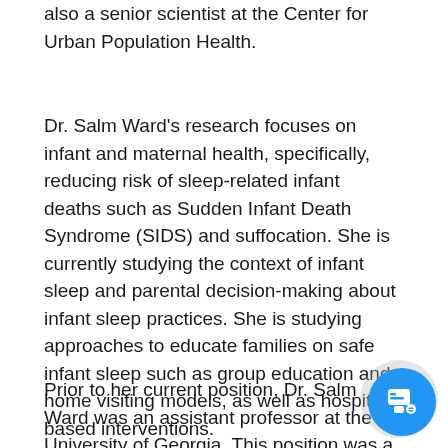also a senior scientist at the Center for Urban Population Health.
Dr. Salm Ward's research focuses on infant and maternal health, specifically, reducing risk of sleep-related infant deaths such as Sudden Infant Death Syndrome (SIDS) and suffocation. She is currently studying the context of infant sleep and parental decision-making about infant sleep practices. She is studying approaches to educate families on safe infant sleep such as group education and home visiting models, as well as hospital-based interventions.
Prior to her current position, Dr. Salm Ward was an assistant professor at the University of Georgia. This position was a